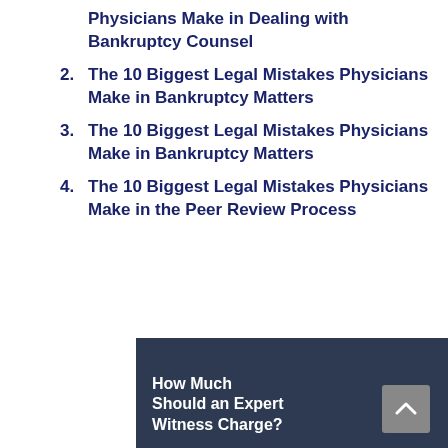Physicians Make in Dealing with Bankruptcy Counsel
2. The 10 Biggest Legal Mistakes Physicians Make in Bankruptcy Matters
3. The 10 Biggest Legal Mistakes Physicians Make in Bankruptcy Matters
4. The 10 Biggest Legal Mistakes Physicians Make in the Peer Review Process
[Figure (infographic): Advertisement banner with dark navy background showing 'How Much Should an Expert Witness Charge?' with a teal downward arrow graphic and white triangle cut on right side]